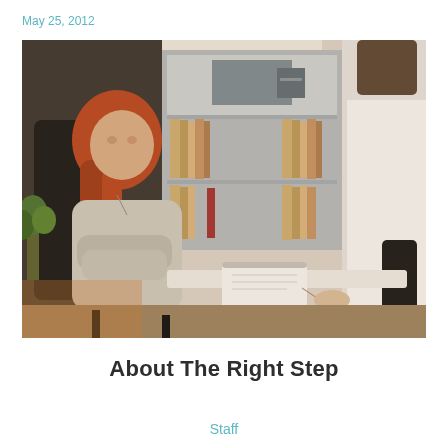May 25, 2012
[Figure (photo): A woman with red hair sitting in a chair with arms crossed, facing a professional across a desk in an office setting with bookshelves in the background — a therapy or counseling session scene.]
About The Right Step
Staff